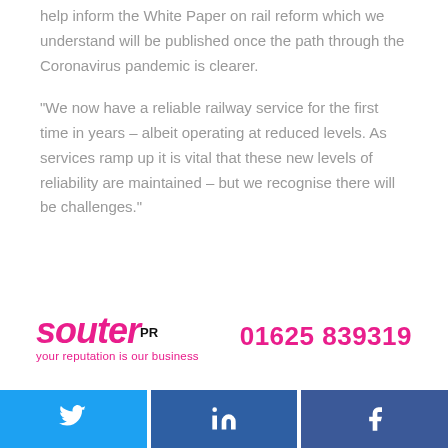help inform the White Paper on rail reform which we understand will be published once the path through the Coronavirus pandemic is clearer.
“We now have a reliable railway service for the first time in years – albeit operating at reduced levels. As services ramp up it is vital that these new levels of reliability are maintained – but we recognise there will be challenges.”
[Figure (logo): Souter PR logo with tagline 'your reputation is our business' and phone number 01625 839319]
[Figure (infographic): Social media share buttons: Twitter (blue), LinkedIn (dark blue), Facebook (dark blue)]